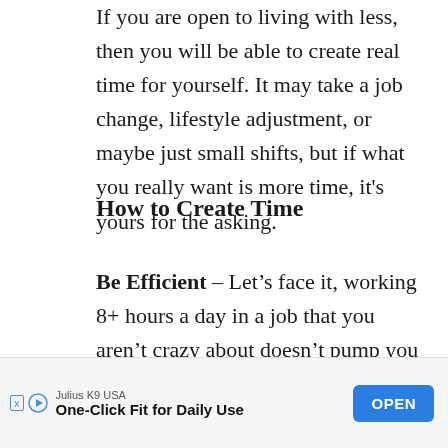If you are open to living with less, then you will be able to create real time for yourself. It may take a job change, lifestyle adjustment, or maybe just small shifts, but if what you really want is more time, it's yours for the asking.
How to Create Time
Be Efficient – Let's face it, working 8+ hours a day in a job that you aren't crazy about doesn't pump you full of energy. The hours after work are often spent recovering with food, alcohol, TV, facebook, and mindless tasks that are in reality any...
[Figure (other): Advertisement banner: Julius K9 USA — One-Click Fit for Daily Use — OPEN button]